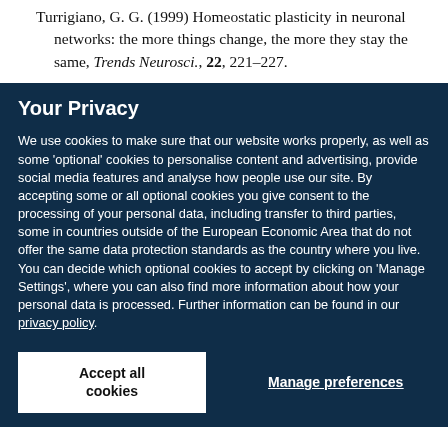Turrigiano, G. G. (1999) Homeostatic plasticity in neuronal networks: the more things change, the more they stay the same, Trends Neurosci., 22, 221–227.
Your Privacy
We use cookies to make sure that our website works properly, as well as some 'optional' cookies to personalise content and advertising, provide social media features and analyse how people use our site. By accepting some or all optional cookies you give consent to the processing of your personal data, including transfer to third parties, some in countries outside of the European Economic Area that do not offer the same data protection standards as the country where you live. You can decide which optional cookies to accept by clicking on 'Manage Settings', where you can also find more information about how your personal data is processed. Further information can be found in our privacy policy.
Accept all cookies | Manage preferences